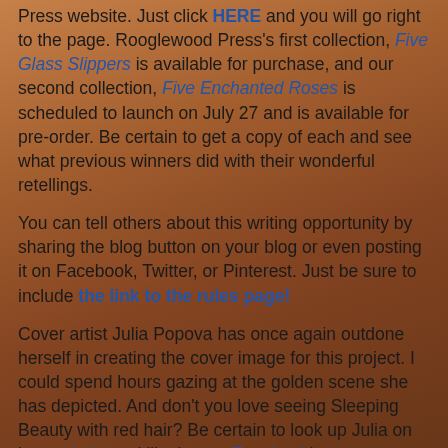Press website. Just click HERE and you will go right to the page. Rooglewood Press's first collection, Five Glass Slippers is available for purchase, and our second collection, Five Enchanted Roses is scheduled to launch on July 27 and is available for pre-order. Be certain to get a copy of each and see what previous winners did with their wonderful retellings.
You can tell others about this writing opportunity by sharing the blog button on your blog or even posting it on Facebook, Twitter, or Pinterest. Just be sure to include the link to the rules page!
Cover artist Julia Popova has once again outdone herself in creating the cover image for this project. I could spend hours gazing at the golden scene she has depicted. And don't you love seeing Sleeping Beauty with red hair? Be certain to look up Julia on her website and like her on Facebook!
So what do you think? Are you ready for this new challenge? I personally feel that the tale of Sleeping Beauty is full of wonderful concepts ready to be turned into all sorts of